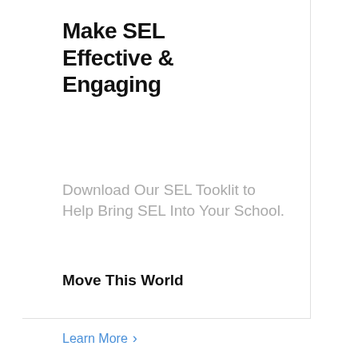Make SEL Effective & Engaging
Download Our SEL Tooklit to Help Bring SEL Into Your School.
Move This World
Learn More >